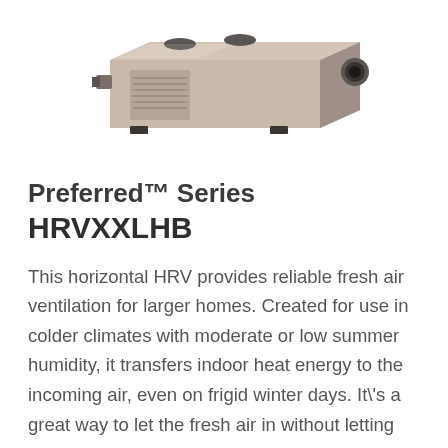[Figure (photo): Product photo of a horizontal HRV unit (HRVXXLHB), a rectangular metallic beige/tan colored ventilation unit shown at an angle, with visible duct connections and mounting feet, photographed against a white background.]
Preferred™ Series HRVXXLHB
This horizontal HRV provides reliable fresh air ventilation for larger homes. Created for use in colder climates with moderate or low summer humidity, it transfers indoor heat energy to the incoming air, even on frigid winter days. It\'s a great way to let the fresh air in without letting